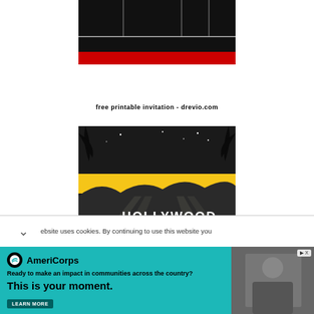[Figure (illustration): Printable party invitation template top portion with black grid cells and horizontal black and red color bands]
free printable invitation - drevio.com
[Figure (illustration): Hollywood-themed printable invitation with night skyline, spotlights, palm trees, HOLLYWOOD sign, and a yellow horizontal band]
website uses cookies. By continuing to use this website you
[Figure (infographic): AmeriCorps advertisement: Ready to make an impact in communities across the country? This is your moment. LEARN MORE]